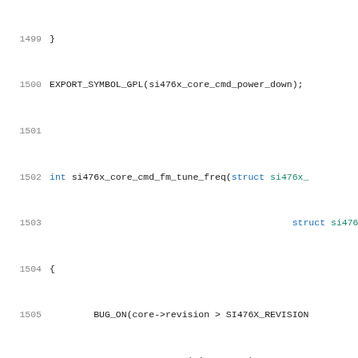Source code listing, lines 1499-1520, C kernel code for si476x radio driver
1499  }
1500  EXPORT_SYMBOL_GPL(si476x_core_cmd_power_down);
1501
1502  int si476x_core_cmd_fm_tune_freq(struct si476x_
1503                                              struct si476x_
1504  {
1505          BUG_ON(core->revision > SI476X_REVISION
1506                  core->revision == -1);
1507          return si476x_cmds_vtable[core->revisio
1508  }
1509  EXPORT_SYMBOL_GPL(si476x_core_cmd_fm_tune_freq)
1510
1511  int si476x_core_cmd_am_tune_freq(struct si476x_
1512                                              struct si476x_
1513  {
1514          BUG_ON(core->revision > SI476X_REVISION
1515                  core->revision == -1);
1516          return si476x_cmds_vtable[core->revisio
1517  }
1518  EXPORT_SYMBOL_GPL(si476x_core_cmd_am_tune_freq)
1519
1520  int si476x_core_cmd_fm_rsq_status(struct si476x